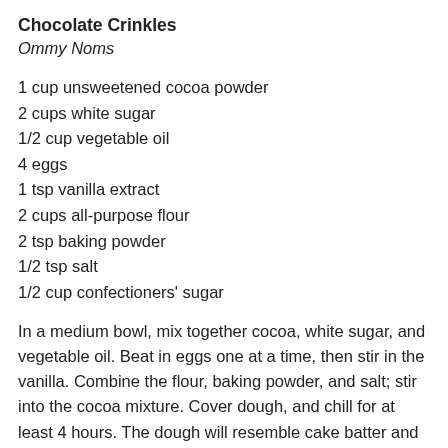Chocolate Crinkles
Ommy Noms
1 cup unsweetened cocoa powder
2 cups white sugar
1/2 cup vegetable oil
4 eggs
1 tsp vanilla extract
2 cups all-purpose flour
2 tsp baking powder
1/2 tsp salt
1/2 cup confectioners' sugar
In a medium bowl, mix together cocoa, white sugar, and vegetable oil. Beat in eggs one at a time, then stir in the vanilla. Combine the flour, baking powder, and salt; stir into the cocoa mixture. Cover dough, and chill for at least 4 hours. The dough will resemble cake batter and remain sticky, even after chilling.
Preheat oven to 350 degrees. Line cookie sheets with parchment paper. I needed 4 cookie sheets total. Roll dough